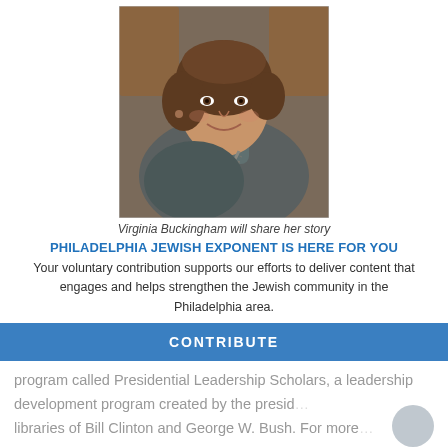[Figure (photo): Portrait photo of Virginia Buckingham, a woman with brown hair, wearing a grey turtleneck and large chain necklace, seated in front of a leather chair]
Virginia Buckingham will share her story
PHILADELPHIA JEWISH EXPONENT IS HERE FOR YOU
Your voluntary contribution supports our efforts to deliver content that engages and helps strengthen the Jewish community in the Philadelphia area.
CONTRIBUTE
program called Presidential Leadership Scholars, a leadership development program created by the presidential libraries of Bill Clinton and George W. Bush. For more...